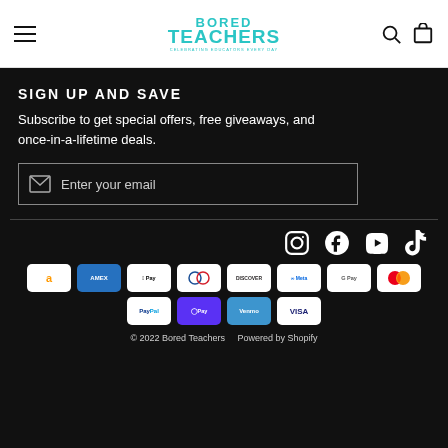Bored Teachers — celebrating educators every day
SIGN UP AND SAVE
Subscribe to get special offers, free giveaways, and once-in-a-lifetime deals.
Enter your email
[Figure (illustration): Social media icons: Instagram, Facebook, YouTube, TikTok]
[Figure (illustration): Payment method badges: Amazon, Amex, Apple Pay, Diners, Discover, Meta Pay, Google Pay, Mastercard, PayPal, Shop Pay, Venmo, Visa]
© 2022 Bored Teachers   Powered by Shopify